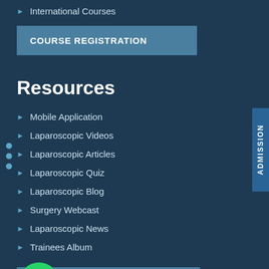International Courses
COURSE REGISTRATION
Resources
Mobile Application
Laparoscopic Videos
Laparoscopic Articles
Laparoscopic Quiz
Laparoscopic Blog
Surgery Webcast
Laparoscopic News
Trainees Album
E CONSULTATION
Contact us
ADMISSION